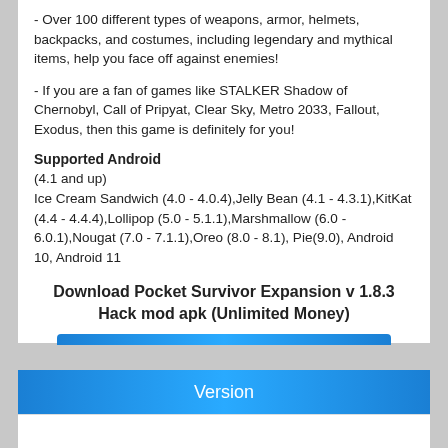- Over 100 different types of weapons, armor, helmets, backpacks, and costumes, including legendary and mythical items, help you face off against enemies!
- If you are a fan of games like STALKER Shadow of Chernobyl, Call of Pripyat, Clear Sky, Metro 2033, Fallout, Exodus, then this game is definitely for you!
Supported Android
(4.1 and up)
Ice Cream Sandwich (4.0 - 4.0.4),Jelly Bean (4.1 - 4.3.1),KitKat (4.4 - 4.4.4),Lollipop (5.0 - 5.1.1),Marshmallow (6.0 - 6.0.1),Nougat (7.0 - 7.1.1),Oreo (8.0 - 8.1), Pie(9.0), Android 10, Android 11
Download Pocket Survivor Expansion v 1.8.3 Hack mod apk (Unlimited Money)
pocket-survivor-expansion-v1.8.3-mod.apk
Version